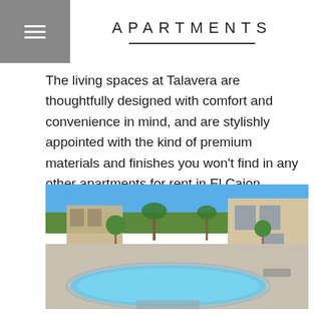APARTMENTS
The living spaces at Talavera are thoughtfully designed with comfort and convenience in mind, and are stylishly appointed with the kind of premium materials and finishes you won't find in any other apartments for rent in El Cajon.
[Figure (photo): Outdoor swimming pool surrounded by paved deck, iron fence, manicured trees, and apartment buildings under a clear blue sky.]